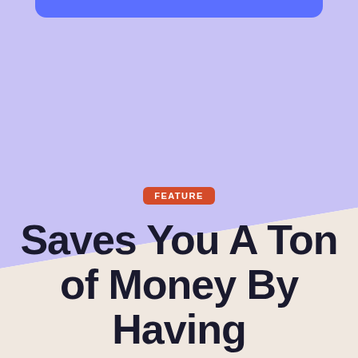[Figure (illustration): Purple lavender background occupying the upper two-thirds of the page with a diagonal cut transitioning to a cream/beige background in the lower portion. A blue/indigo rounded bar appears at the very top center of the page.]
FEATURE
Saves You A Ton of Money By Having